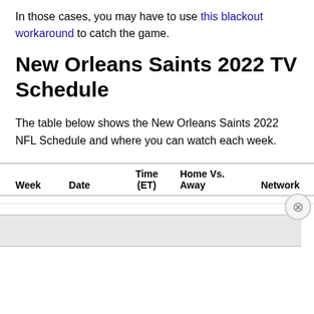In those cases, you may have to use this blackout workaround to catch the game.
New Orleans Saints 2022 TV Schedule
The table below shows the New Orleans Saints 2022 NFL Schedule and where you can watch each week.
| Week | Date | Time (ET) | Home Vs. Away | Network |
| --- | --- | --- | --- | --- |